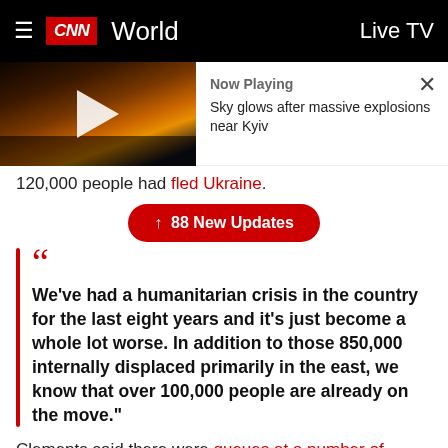CNN World  Live TV
[Figure (screenshot): CNN video thumbnail showing night sky with explosions near Kyiv, with a play button overlay. Now Playing panel shows 'Sky glows after massive explosions near Kyiv' with a close X button.]
120,000 people had fled Ukraine.
↑ 88 New Updates
"We've had a humanitarian crisis in the country for the last eight years and it's just become a whole lot worse. In addition to those 850,000 internally displaced primarily in the east, we know that over 100,000 people are already on the move."
Clements said there were queues at a number of border crossings, and many Ukrainians were monitoring the situation. She added that "many more" would follow the "large number" of refugees who have